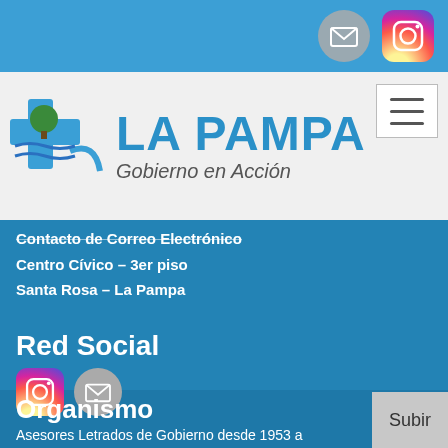[Figure (logo): La Pampa provincial government logo with tree and flag emblem, text LA PAMPA Gobierno en Acción]
Contacto de Correo Electrónico
Centro Cívico – 3er piso
Santa Rosa – La Pampa
Red Social
[Figure (infographic): Instagram and email social media icon buttons]
Organismo
Asesores Letrados de Gobierno desde 1953 a